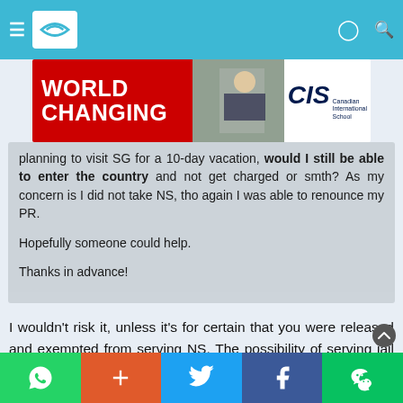[Figure (screenshot): Top navigation bar with hamburger menu, logo, and icons on blue background]
[Figure (photo): Advertisement banner: red background with 'WORLD CHANGING' text in white, photo of masked person at whiteboard, CIS Canadian International School logo on white background]
planning to visit SG for a 10-day vacation, would I still be able to enter the country and not get charged or smth? As my concern is I did not take NS, tho again I was able to renounce my PR.

Hopefully someone could help.

Thanks in advance!
I wouldn't risk it, unless it's for certain that you were released and exempted from serving NS. The possibility of serving jail time just isn't worth it.

Edit: just Read that you have been officially released from your responsibility. In that case you're totally fine, enjoy your time here.
[Figure (screenshot): Bottom social sharing bar with WhatsApp, plus, Twitter, Facebook, and WeChat icons]